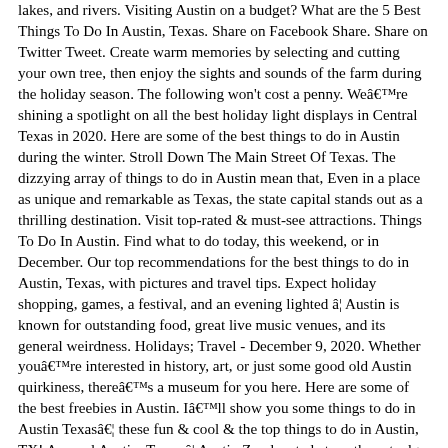lakes, and rivers. Visiting Austin on a budget? What are the 5 Best Things To Do In Austin, Texas. Share on Facebook Share. Share on Twitter Tweet. Create warm memories by selecting and cutting your own tree, then enjoy the sights and sounds of the farm during the holiday season. The following won't cost a penny. We're shining a spotlight on all the best holiday light displays in Central Texas in 2020. Here are some of the best things to do in Austin during the winter. Stroll Down The Main Street Of Texas. The dizzying array of things to do in Austin mean that, Even in a place as unique and remarkable as Texas, the state capital stands out as a thrilling destination. Visit top-rated & must-see attractions. Things To Do In Austin. Find what to do today, this weekend, or in December. Our top recommendations for the best things to do in Austin, Texas, with pictures and travel tips. Expect holiday shopping, games, a festival, and an evening lighted â¦ Austin is known for outstanding food, great live music venues, and its general weirdness. Holidays; Travel - December 9, 2020. Whether you're interested in history, art, or just some good old Austin quirkiness, there's a museum for you here. Here are some of the best freebies in Austin. I'll show you some things to do in Austin Texasâ¦ these fun & cool & the top things to do in Austin, TX! Apparel Austin, Texas â¦ Austin Zoo located at southwest edge of Austin, Texas. From affordable food truck eats and outdoor adventures to free museums and tours, you can experience the best of the city without putting a serious dent in your wallet. 20 BEST